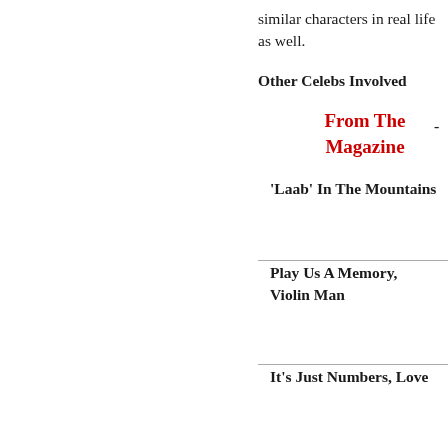similar characters in real life as well.
Other Celebs Involved
From The Magazine
'Laab' In The Mountains
Play Us A Memory, Violin Man
It's Just Numbers, Love